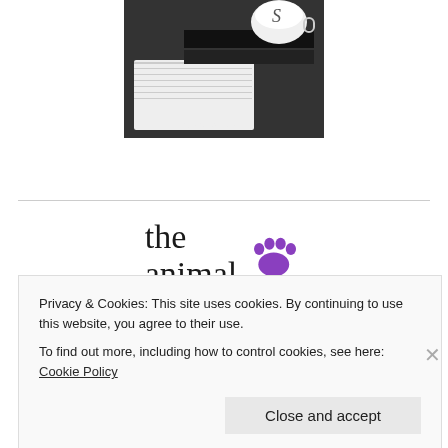[Figure (photo): Black and white photo of books and a mug with R&R Book Tours logo at the bottom]
R&R Book Tours
[Figure (logo): The Animal logo with a purple paw print icon]
Privacy & Cookies: This site uses cookies. By continuing to use this website, you agree to their use.
To find out more, including how to control cookies, see here: Cookie Policy
Close and accept